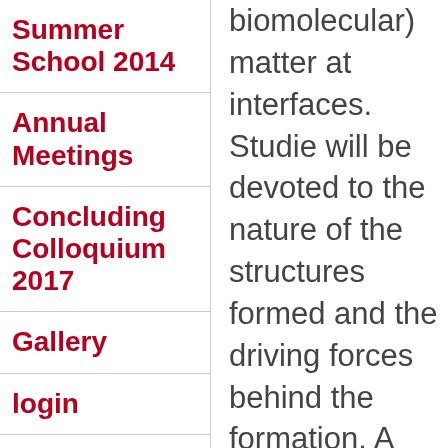Summer School 2014
Annual Meetings
Concluding Colloquium 2017
Gallery
login
biomolecular) matter at interfaces. Studies will be devoted to the nature of the structures formed and the driving forces behind the formation. A common objective of the research program will be a better understanding of